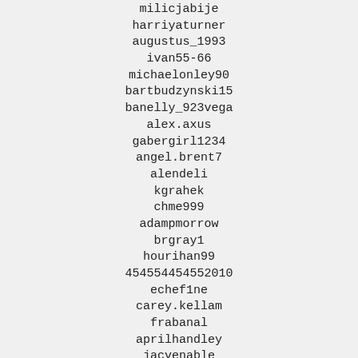milicjabije
harriyaturner
augustus_1993
ivan55-66
michaelonley90
bartbudzynski15
banelly_923vega
alex.axus
gabergirl1234
angel.brent7
alendeli
kgrahek
chme999
adampmorrow
brgray1
hourihan99
454554454552010
echef1ne
carey.kellam
frabanal
aprilhandley
jacvenable
epunk69
837634409